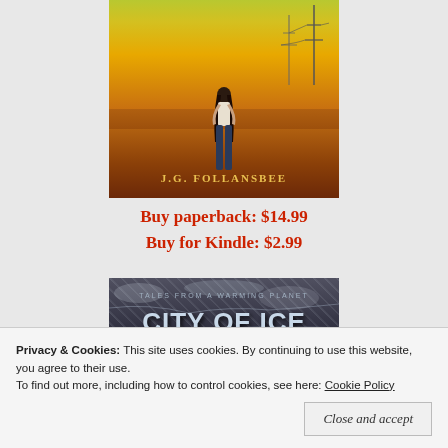[Figure (illustration): Book cover for a novel by J.G. Follansbee. A woman with dark hair stands with her back to the viewer against a dramatic golden-orange sky. Power line towers are visible in the background. The ground appears dry and barren. Author name 'J.G. FOLLANSBEE' displayed in golden letters at the bottom of the cover.]
Buy paperback: $14.99
Buy for Kindle: $2.99
[Figure (illustration): Book cover for 'City of Ice and Dreams' - Tales from a Warming Planet. Dark icy/frozen texture background with large bold white text showing the title.]
Privacy & Cookies:  This site uses cookies. By continuing to use this website, you agree to their use.
To find out more, including how to control cookies, see here: Cookie Policy
Close and accept